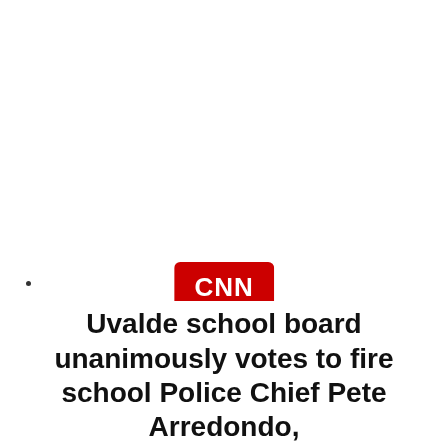[Figure (logo): CNN Breaking News logo - red square with CNN in white letters and BREAKING NEWS text below]
@cnnbrk
Follow
Followers: 63,807,961
Uvalde school board unanimously votes to fire school Police Chief Pete Arredondo,